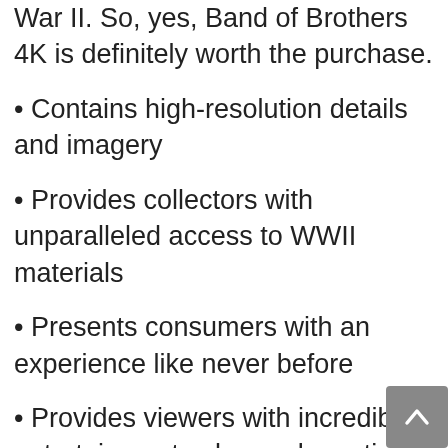War II. So, yes, Band of Brothers 4K is definitely worth the purchase.
Contains high-resolution details and imagery
Provides collectors with unparalleled access to WWII materials
Presents consumers with an experience like never before
Provides viewers with incredible entertainment value and emotional impact
Therefore, Band Of Brothers 4K is definitely worth the purchase. The series offers a comprehensive look at World War II that